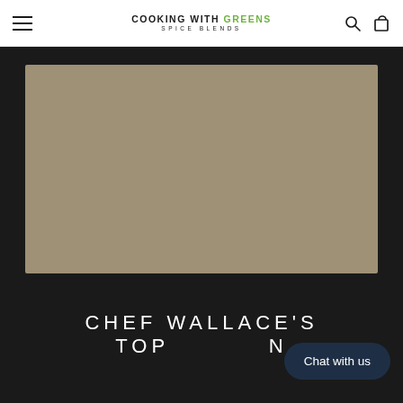COOKING WITH GREENS SPICE BLENDS
[Figure (photo): Product image placeholder with tan/khaki colored background, rectangular shape]
CHEF WALLACE'S TOP N
Chat with us